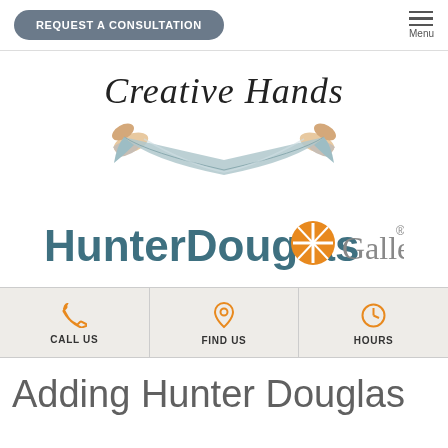REQUEST A CONSULTATION | Menu
[Figure (logo): Creative Hands logo with two hands holding a draped fabric, script text 'Creative Hands' above]
[Figure (logo): HunterDouglas Gallery logo with orange circular icon and bold teal/grey text]
| CALL US | FIND US | HOURS |
Adding Hunter Douglas